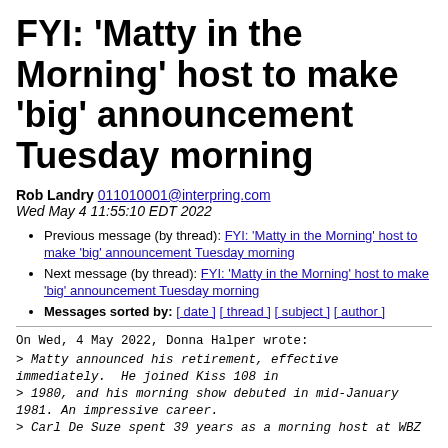FYI: 'Matty in the Morning' host to make 'big' announcement Tuesday morning
Rob Landry 011010001@interpring.com
Wed May 4 11:55:10 EDT 2022
Previous message (by thread): FYI: 'Matty in the Morning' host to make 'big' announcement Tuesday morning
Next message (by thread): FYI: 'Matty in the Morning' host to make 'big' announcement Tuesday morning
Messages sorted by: [ date ] [ thread ] [ subject ] [ author ]
On Wed, 4 May 2022, Donna Halper wrote:

> Matty announced his retirement, effective
immediately.  He joined Kiss 108 in
> 1980, and his morning show debuted in mid-January
1981. An impressive career.
> Carl De Suze spent 39 years as a morning host at WBZ